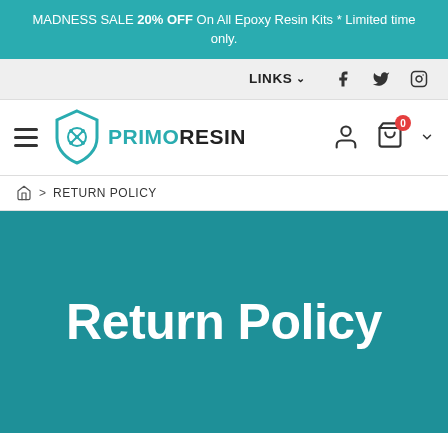MADNESS SALE 20% OFF On All Epoxy Resin Kits * Limited time only.
LINKS
[Figure (logo): PrimoResin logo with teal shield icon and text PRIMORESIN]
⌂ > RETURN POLICY
Return Policy